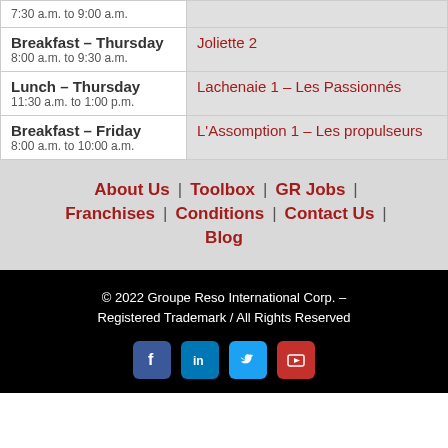| Meal / Time | Room |
| --- | --- |
| 7:30 a.m. to 9:00 a.m. |  |
| Breakfast – Thursday
8:00 a.m. to 9:30 a.m. | Joliette 2 |
| Lunch – Thursday
11:30 a.m. to 1:00 p.m. | Lachenaie 1 – Les Passionnés |
| Breakfast – Friday
8:00 a.m. to 10:00 a.m. | L'Assomption 1 – Les propulseurs |
About Us | Toolbox | GR Jobs | Franchises | Conditions | Contact Us | Blog
© 2022 Groupe Reso International Corp. – Registered Trademark / All Rights Reserved